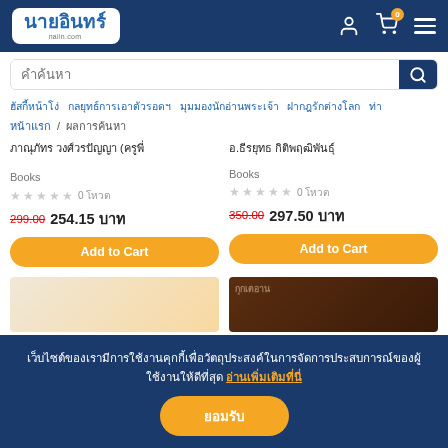นายอินทร์ naiin.com
คำค้นหา
ฮัสกี้หน้าโง่  กลยุทธ์การเอาตัวรอดฯ  มุมมองนักอ่านพระเจ้า  ฝากฎรักต่างโลก  ท่า
หน้าแรก  /  ผลการค้นหา
ภาณุภัทร วงศ์วรปัญญา (ครูพี่​
Books
0 โหวต
299.00  254.15 บาท
Add to Cart
อ.ธีรยุทธ กิติพฤฒิพันธุ์
Books
0 โหวต
350.00  297.50 บาท
Add to Cart
เว็บไซต์ของเรามีการใช้งานคุกกี้เพื่อวัตถุประสงค์ในการจัดการประสบการณ์ของผู้ใช้งานให้ดีที่สุด อ่านเพิ่มเติมที่นี่
ยอมรับ